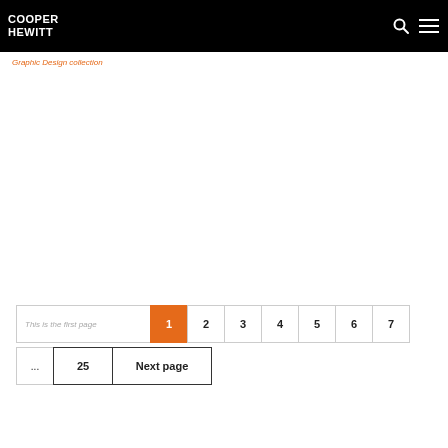COOPER HEWITT
Graphic Design collection
This is the first page  1  2  3  4  5  6  7  ...  25  Next page